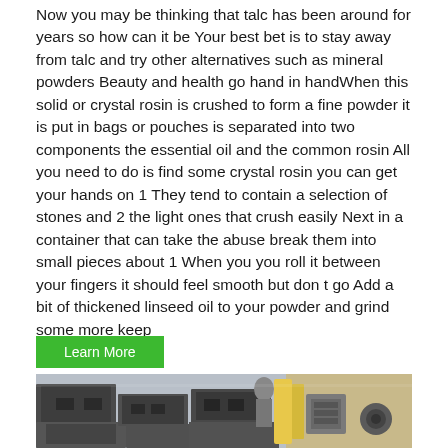Now you may be thinking that talc has been around for years so how can it be Your best bet is to stay away from talc and try other alternatives such as mineral powders Beauty and health go hand in handWhen this solid or crystal rosin is crushed to form a fine powder it is put in bags or pouches is separated into two components the essential oil and the common rosin All you need to do is find some crystal rosin you can get your hands on 1 They tend to contain a selection of stones and 2 the light ones that crush easily Next in a container that can take the abuse break them into small pieces about 1 When you you roll it between your fingers it should feel smooth but don t go Add a bit of thickened linseed oil to your powder and grind some more keep
Learn More
[Figure (photo): Photo of dark grey stone or metal blocks/slabs stacked together in an industrial or workshop setting, with various objects visible in the background.]